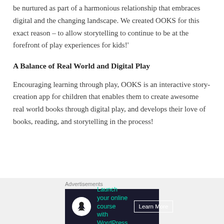be nurtured as part of a harmonious relationship that embraces digital and the changing landscape. We created OOKS for this exact reason – to allow storytelling to continue to be at the forefront of play experiences for kids!'
A Balance of Real World and Digital Play
Encouraging learning through play, OOKS is an interactive story-creation app for children that enables them to create awesome real world books through digital play, and develops their love of books, reading, and storytelling in the process!
[Figure (other): Advertisement banner with dark background showing 'Launch your online course with WordPress' with a Learn More button and a tree/person icon]